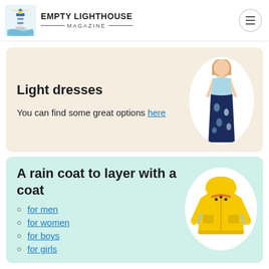EMPTY LIGHTHOUSE MAGAZINE
Light dresses
You can find some great options here
[Figure (photo): A woman wearing a light blue and navy floral maxi dress]
A rain coat to layer with a coat
for men
for women
for boys
for girls
[Figure (photo): A yellow children's rain jacket with reflective strips]